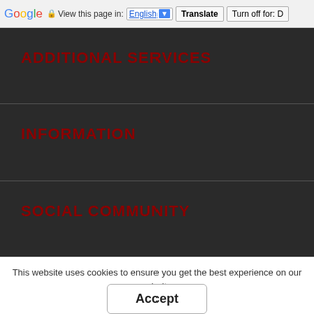Google  View this page in: English [▼]  Translate  Turn off for: D
ADDITIONAL SERVICES
INFORMATION
SOCIAL COMMUNITY
This website uses cookies to ensure you get the best experience on our website.
Accept